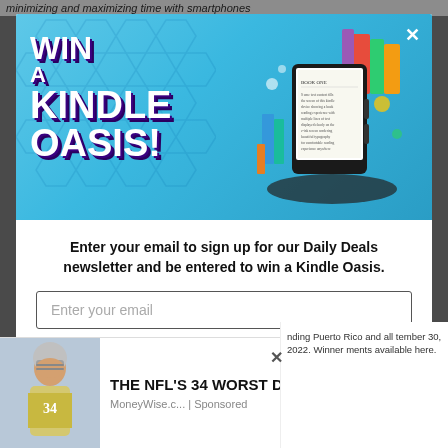minimizing and maximizing time with smartphones
[Figure (illustration): Win a Kindle Oasis promotional banner with stylized 3D text and illustration of a Kindle device surrounded by books]
Enter your email to sign up for our Daily Deals newsletter and be entered to win a Kindle Oasis.
Enter your email
I'M FEELING LUCKY
NO THANKS
[Figure (photo): Football player photo used in advertisement]
THE NFL'S 34 WORST DRAFT...
MoneyWise.c... | Sponsored
nding Puerto Rico and all tember 30, 2022. Winner ments available here.